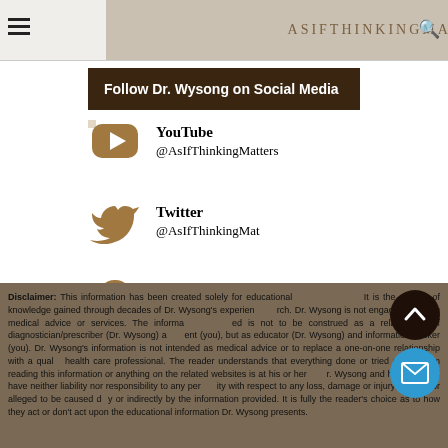AsIfThinkingMatters.com
Follow Dr. Wysong on Social Media
YouTube @AsIfThinkingMatters
Twitter @AsIfThinkingMat
Quora @Randy-Wysong
Parler @thinkingmatters
Disclaimer: This information has been created solely for educational ... It is the sharing of knowledge gained through decades of Dr. Wysong's experience and research. Dr. Wysong is not engaged in giving medical advice or services. The information provided is not to be construed as a relationship of diagnostician/prescriber (Dr. Wysong) and patient (you), but as educator (Dr. Wysong) and information seeker (you). Dr. Wysong's information is not intended as medical advice or to replace a one-on-one relationship with a qualified health care professional. The reader understands that everything done or tried as a result of reading this information or anything on the related websites is at his or her own risk. Dr. Wysong and his staff shall have neither liability nor responsibility to any person or entity with respect to any loss, damage or injury caused, or alleged to be caused directly or indirectly by the information provided. It is fully the reader's choice as to how they act or don't act upon the educational information Dr. Wysong presents.